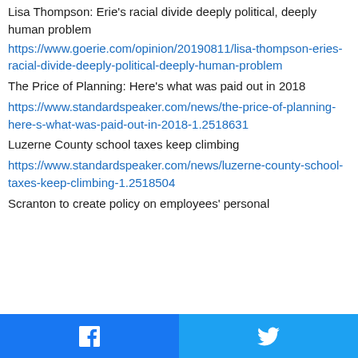Lisa Thompson: Erie's racial divide deeply political, deeply human problem
https://www.goerie.com/opinion/20190811/lisa-thompson-eries-racial-divide-deeply-political-deeply-human-problem
The Price of Planning: Here's what was paid out in 2018
https://www.standardspeaker.com/news/the-price-of-planning-here-s-what-was-paid-out-in-2018-1.2518631
Luzerne County school taxes keep climbing
https://www.standardspeaker.com/news/luzerne-county-school-taxes-keep-climbing-1.2518504
Scranton to create policy on employees' personal